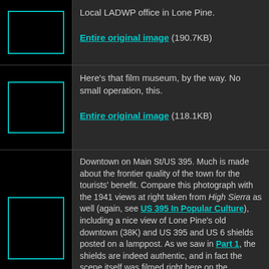[Figure (photo): Thumbnail placeholder image with cyan border]
Local LADWP office in Lone Pine.
Entire original image (190.7KB)
[Figure (photo): Thumbnail placeholder image with cyan border]
Here's that film museum, by the way. No small operation, this.
Entire original image (118.1KB)
[Figure (photo): Thumbnail placeholder image with cyan border]
Downtown on Main St/US 395. Much is made about the frontier quality of the town for the tourists' benefit. Compare this photograph with the 1941 views at right taken from High Sierra as well (again, see US 395 In Popular Culture), including a nice view of Lone Pine's old downtown (38K) and US 395 and US 6 shields posted on a lamppost. As we saw in Part 1, the shields are indeed authentic, and in fact the scene itself was filmed right here on the highway. Remember that until 1964, we were signed